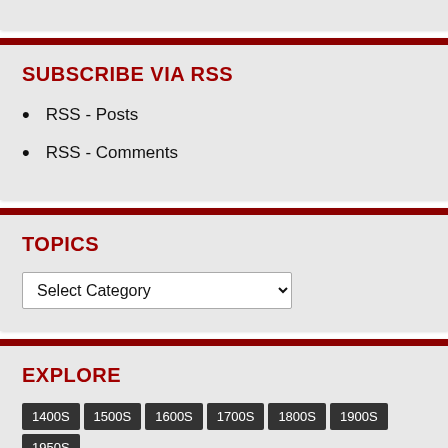SUBSCRIBE VIA RSS
RSS - Posts
RSS - Comments
TOPICS
Select Category
EXPLORE
1400S
1500S
1600S
1700S
1800S
1900S
1950S